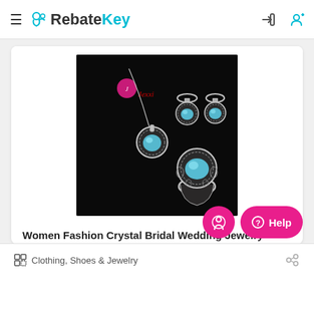RebateKey
[Figure (photo): Product photo of women's crystal bridal wedding jewelry sets including necklace, earrings, and ring with aqua blue gemstones on black background with Jexxi brand logo]
Women Fashion Crystal Bridal Wedding Jewelry Sets...
$197.99 $19.8  90% OFF
Clothing, Shoes & Jewelry